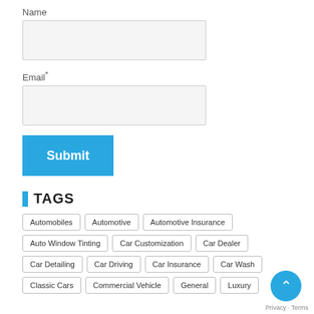Name
Email*
Submit
TAGS
Automobiles
Automotive
Automotive Insurance
Auto Window Tinting
Car Customization
Car Dealer
Car Detailing
Car Driving
Car Insurance
Car Wash
Classic Cars
Commercial Vehicle
General
Luxury